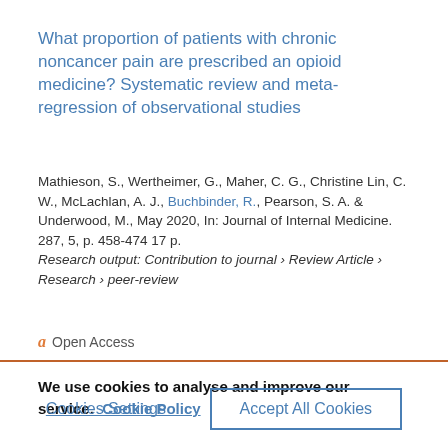What proportion of patients with chronic noncancer pain are prescribed an opioid medicine? Systematic review and meta-regression of observational studies
Mathieson, S., Wertheimer, G., Maher, C. G., Christine Lin, C. W., McLachlan, A. J., Buchbinder, R., Pearson, S. A. & Underwood, M., May 2020, In: Journal of Internal Medicine. 287, 5, p. 458-474 17 p.
Research output: Contribution to journal › Review Article › Research › peer-review
Open Access
We use cookies to analyse and improve our service. Cookie Policy
Cookies Settings
Accept All Cookies